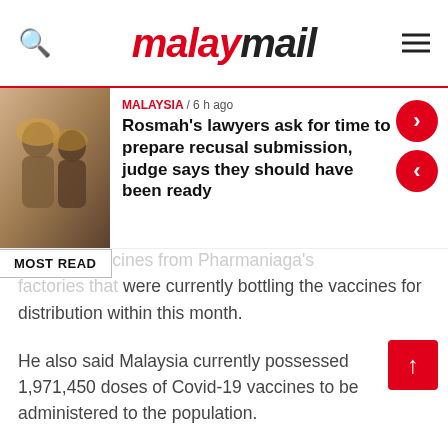malaymail
[Figure (photo): News card showing Rosmah Mansor with headline about lawyers asking for time to prepare recusal submission]
Rosmah's lawyers ask for time to prepare recusal submission, judge says they should have been ready
Sinovac vaccines from Pharmaniaga's factories that were currently bottling the vaccines for distribution within this month.
He also said Malaysia currently possessed 1,971,450 doses of Covid-19 vaccines to be administered to the population.
Later, Khairy also said Malaysia was expecting the arrival of some 1.1 million AstraZeneca vaccines this month via the Covid-19 Vaccines Global Access Covax.
This will be followed by another 610,000 doses from